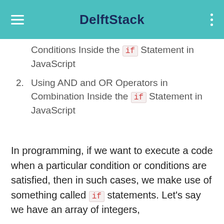DelftStack
Conditions Inside the if Statement in JavaScript
2. Using AND and OR Operators in Combination Inside the if Statement in JavaScript
In programming, if we want to execute a code when a particular condition or conditions are satisfied, then in such cases, we make use of something called if statements. Let’s say we have an array of integers,